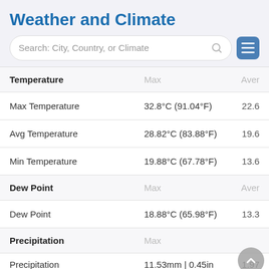Weather and Climate
Search: City, Country, or Climate
| Temperature | Max | Aver |
| --- | --- | --- |
| Max Temperature | 32.8°C (91.04°F) | 22.6… |
| Avg Temperature | 28.82°C (83.88°F) | 19.6… |
| Min Temperature | 19.88°C (67.78°F) | 13.6… |
| Dew Point | Max | Aver |
| Dew Point | 18.88°C (65.98°F) | 13.3… |
| Precipitation | Max |  |
| Precipitation | 11.53mm | 0.45in | 1.97… |